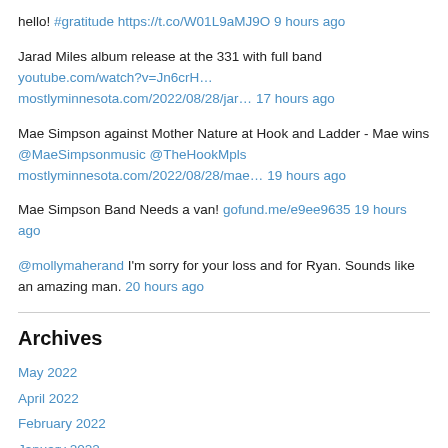hello! #gratitude https://t.co/W01L9aMJ9O 9 hours ago
Jarad Miles album release at the 331 with full band youtube.com/watch?v=Jn6crH… mostlyminnesota.com/2022/08/28/jar… 17 hours ago
Mae Simpson against Mother Nature at Hook and Ladder - Mae wins @MaeSimpsonmusic @TheHookMpls mostlyminnesota.com/2022/08/28/mae… 19 hours ago
Mae Simpson Band Needs a van! gofund.me/e9ee9635 19 hours ago
@mollymaherand I'm sorry for your loss and for Ryan. Sounds like an amazing man. 20 hours ago
Archives
May 2022
April 2022
February 2022
January 2022